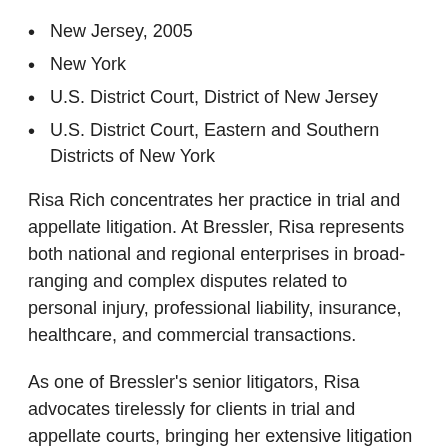New Jersey, 2005
New York
U.S. District Court, District of New Jersey
U.S. District Court, Eastern and Southern Districts of New York
Risa Rich concentrates her practice in trial and appellate litigation. At Bressler, Risa represents both national and regional enterprises in broad-ranging and complex disputes related to personal injury, professional liability, insurance, healthcare, and commercial transactions.
As one of Bressler's senior litigators, Risa advocates tirelessly for clients in trial and appellate courts, bringing her extensive litigation experience to bear on the most challenging issues and decisions facing litigants. The matters Risa is entrusted to handle range from high-value tort and commercial disputes on behalf of Fortune 100 companies to administrative appeal hearings in the Office